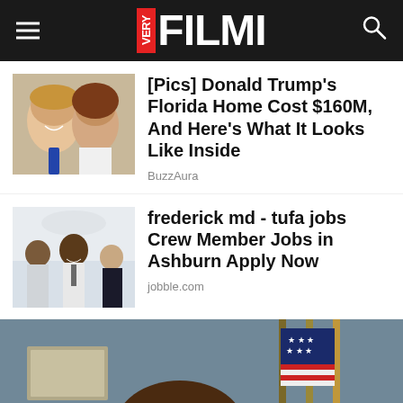VERY FILMI
[Figure (photo): Photo of two people smiling - man and woman]
[Pics] Donald Trump's Florida Home Cost $160M, And Here's What It Looks Like Inside
BuzzAura
[Figure (photo): Photo of restaurant/hospitality workers in uniforms]
frederick md - tufa jobs Crew Member Jobs in Ashburn Apply Now
jobble.com
[Figure (photo): Partial photo of a person with American flags in background]